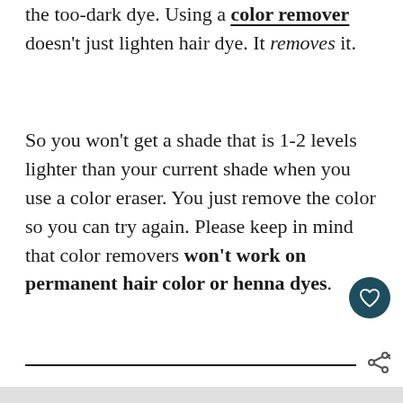the too-dark dye. Using a color remover doesn't just lighten hair dye. It removes it.
So you won't get a shade that is 1-2 levels lighter than your current shade when you use a color eraser. You just remove the color so you can try again. Please keep in mind that color removers won't work on permanent hair color or henna dyes.
Our Top Pick
[Figure (screenshot): Bottom portion showing a product image with a woman with curly red hair, and an advertisement banner 'GO BEYOND SAYING THANK YOU - OPERATION GRATITUDE - JOIN US']